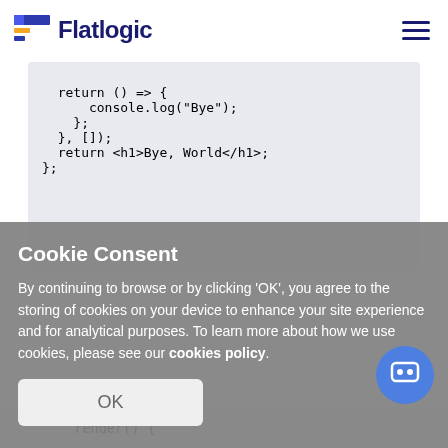Flatlogic
[Figure (screenshot): Code block showing partial JavaScript/JSX code: return () => { console.log("Bye"); }; }, []); return <h1>Bye, World</h1>; };]
Cookie Consent
By continuing to browse or by clicking 'OK', you agree to the storing of cookies on your device to enhance your site experience and for analytical purposes. To learn more about how we use cookies, please see our cookies policy.
OK
[Figure (screenshot): Bottom partial code strip showing: render() {]